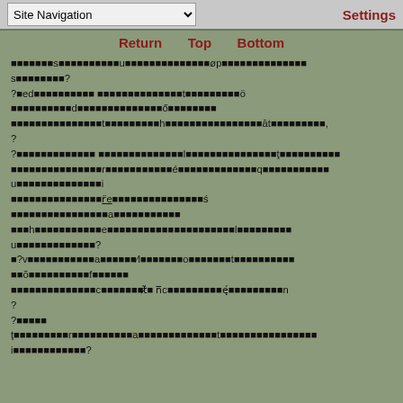Site Navigation [dropdown] | Settings
Return  Top  Bottom
[corrupted/encoded text content with special characters and block symbols]